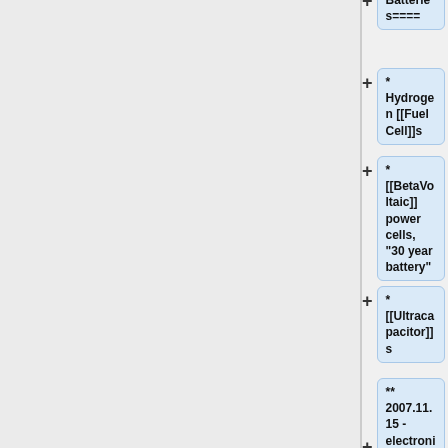Batteries====
* Hydrogen [[Fuel Cell]]s
* [[BetaVoltaic]] power cells, "30 year battery"
* [[Ultracapacitor]]s
** 2007.11.15 - electronicdesign.com - [http://electronicdesign.com/Articles/Index.cfm?ArticleID=17465 Get The Lowdown On Ultracapacitors]